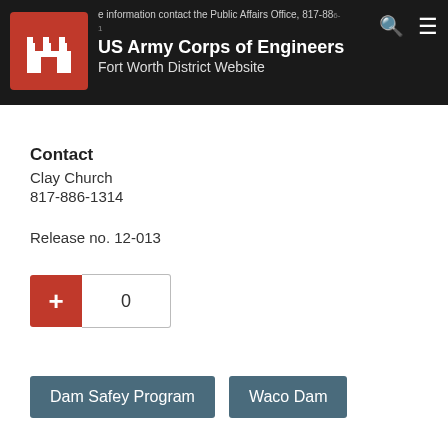US Army Corps of Engineers Fort Worth District Website
Contact
Clay Church
817-886-1314
Release no. 12-013
0
Dam Safey Program
Waco Dam